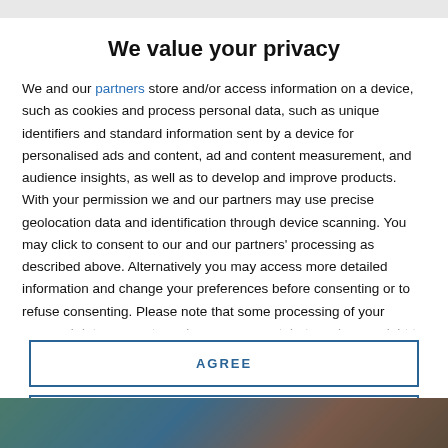We value your privacy
We and our partners store and/or access information on a device, such as cookies and process personal data, such as unique identifiers and standard information sent by a device for personalised ads and content, ad and content measurement, and audience insights, as well as to develop and improve products. With your permission we and our partners may use precise geolocation data and identification through device scanning. You may click to consent to our and our partners' processing as described above. Alternatively you may access more detailed information and change your preferences before consenting or to refuse consenting. Please note that some processing of your personal data may not require your consent, but you have a right to
AGREE
MORE OPTIONS
[Figure (photo): Bottom strip showing a partial photo image, partially obscured]